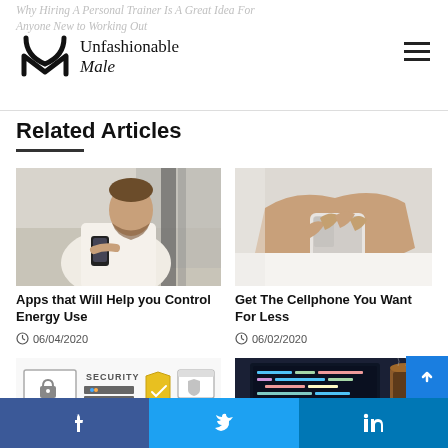Why Hiring A Personal Trainer Is A Great Idea For Anyone New to Working Out | Unfashionable Male
Related Articles
[Figure (photo): Man in white shirt leaning forward looking at smartphone, outdoor building background]
Apps that Will Help you Control Energy Use
06/04/2020
[Figure (photo): Close-up of hands holding and using a smartphone, white background]
Get The Cellphone You Want For Less
06/02/2020
[Figure (illustration): Security infographic with monitor, lock, shield icons and the word SECURITY]
[Figure (photo): Laptop screen showing code/programming environment with coffee cup in background]